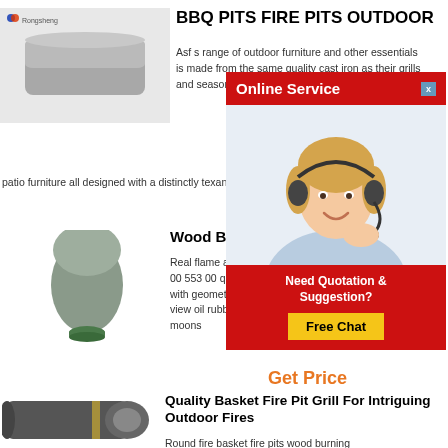[Figure (photo): Gray rectangular block product photo with Rongsheng logo in top left corner]
BBQ PITS FIRE PITS OUTDOOR
Asf s range of outdoor furniture and other essentials is made from the same quality cast iron as their grills and season after season accessories include patio furniture all designed with a distinctly texan flair b
[Figure (photo): Online Service popup with a female customer service agent wearing a headset, red background, 'Need Quotation & Suggestion? Free Chat' button]
[Figure (photo): Gray egg/cone shaped product photo on small green base]
Wood Burning
Real flame austin w 00 553 00 quick vie with geometric desi view oil rubbed bro moons
Get Price
[Figure (photo): Dark gray cylindrical/rolled metal product photo]
Quality Basket Fire Pit Grill For Intriguing Outdoor Fires
Round fire basket fire pits wood burning